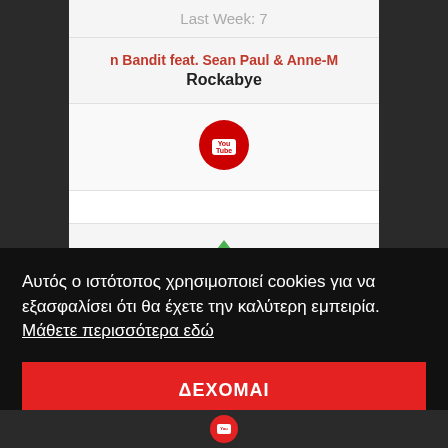Last Week: 7
n Bandit feat. Sean Paul & Anne-M
Rockabye
[Figure (logo): YouTube logo — red circle with white YouTube play button icon]
[Figure (illustration): Green upward arrow icon]
Αυτός ο ιστότοπος χρησιμοποιεί cookies για να εξασφαλίσει ότι θα έχετε την καλύτερη εμπειρία.  Μάθετε περισσότερα εδώ
ΔΕΧΟΜΑΙ